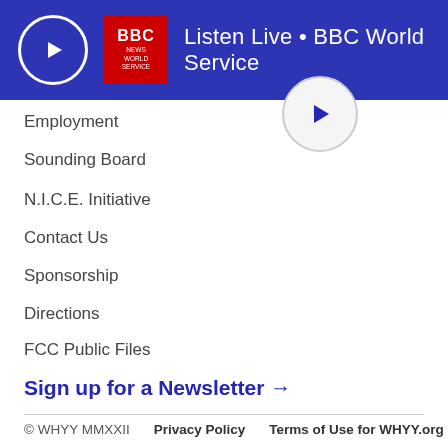[Figure (logo): BBC News World Service banner with play button circle, BBC logo, and 'Listen Live • BBC World Service' text on blue background]
Employment
Sounding Board
N.I.C.E. Initiative
Contact Us
Sponsorship
Directions
FCC Public Files
Sign up for a Newsletter →
© WHYY MMXXII   Privacy Policy   Terms of Use for WHYY.org
WHYY is partnered with